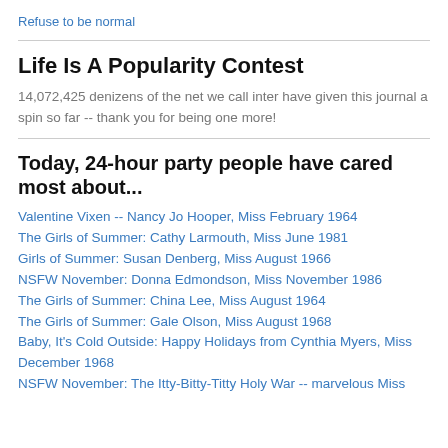Refuse to be normal
Life Is A Popularity Contest
14,072,425 denizens of the net we call inter have given this journal a spin so far -- thank you for being one more!
Today, 24-hour party people have cared most about...
Valentine Vixen -- Nancy Jo Hooper, Miss February 1964
The Girls of Summer: Cathy Larmouth, Miss June 1981
Girls of Summer: Susan Denberg, Miss August 1966
NSFW November: Donna Edmondson, Miss November 1986
The Girls of Summer: China Lee, Miss August 1964
The Girls of Summer: Gale Olson, Miss August 1968
Baby, It's Cold Outside: Happy Holidays from Cynthia Myers, Miss December 1968
NSFW November: The Itty-Bitty-Titty Holy War -- marvelous Miss